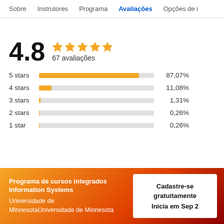Sobre | Instrutores | Programa | Avaliações | Opções de i
4.8 ★★★★★ 67 avaliações
[Figure (bar-chart): Star ratings distribution]
Programa de cursos integrados Information Systems
Universidade de MinnesotaUniversidade de Minnesota
Cadastre-se gratuitamente
Inicia em Sep 2